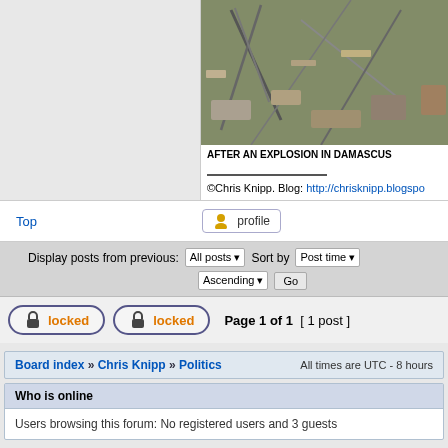[Figure (photo): Debris and rubble after an explosion in Damascus]
AFTER AN EXPLOSION IN DAMASCUS
©Chris Knipp. Blog: http://chrisknipp.blogspot.com
Top
profile
Display posts from previous: All posts Sort by Post time Ascending Go
locked locked Page 1 of 1 [ 1 post ]
Board index » Chris Knipp » Politics All times are UTC - 8 hours
Who is online
Users browsing this forum: No registered users and 3 guests
You cannot post new topics in this forum
You cannot reply to topics in this forum
You cannot edit your posts in this forum